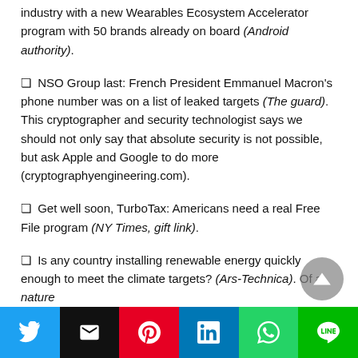industry with a new Wearables Ecosystem Accelerator program with 50 brands already on board (Android authority).
❏ NSO Group last: French President Emmanuel Macron's phone number was on a list of leaked targets (The guard). This cryptographer and security technologist says we should not only say that absolute security is not possible, but ask Apple and Google to do more (cryptographyengineering.com).
❏ Get well soon, TurboTax: Americans need a real Free File program (NY Times, gift link).
❏ Is any country installing renewable energy quickly enough to meet the climate targets? (Ars-Technica). Of a nature...
Twitter | Email | Pinterest | LinkedIn | WhatsApp | Line